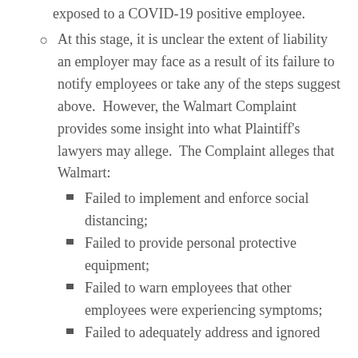exposed to a COVID-19 positive employee.
At this stage, it is unclear the extent of liability an employer may face as a result of its failure to notify employees or take any of the steps suggest above.  However, the Walmart Complaint provides some insight into what Plaintiff's lawyers may allege.  The Complaint alleges that Walmart:
Failed to implement and enforce social distancing;
Failed to provide personal protective equipment;
Failed to warn employees that other employees were experiencing symptoms;
Failed to adequately address and ignored